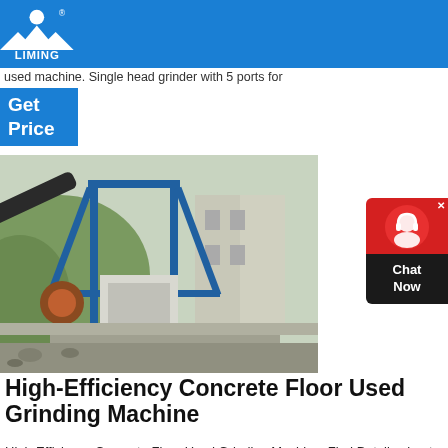LIMING (logo)
used machine. Single head grinder with 5 ports for
Get Price
[Figure (photo): Industrial concrete grinding / crushing machinery installation at a construction site, featuring blue steel frame structures and mechanical equipment.]
High-Efficiency Concrete Floor Used Grinding Machine
High-Efficiency Concrete Floor Used Grinding Machine, Find Details about Concrete Grinder, Concrete Floor Grinder from High-Efficiency Concrete Floor Used Grinding Machine — an Honway Machinery Equipment Co., Ltd.
[Figure (logo): Chat Now widget — red circle icon with headset, dark background, text 'Chat Now']